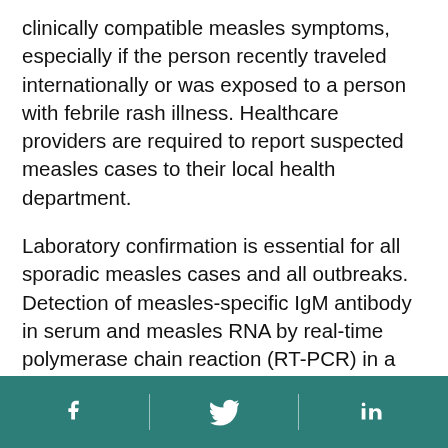clinically compatible measles symptoms, especially if the person recently traveled internationally or was exposed to a person with febrile rash illness. Healthcare providers are required to report suspected measles cases to their local health department.
Laboratory confirmation is essential for all sporadic measles cases and all outbreaks. Detection of measles-specific IgM antibody in serum and measles RNA by real-time polymerase chain reaction (RT-PCR) in a respiratory specimen are the most common methods for confirming measles infection. Healthcare providers should obtain both a serum sample and a throat swab (or nasopharyngeal swab) from patients suspected to have measles at first
[Facebook icon] [Twitter icon] [LinkedIn icon]